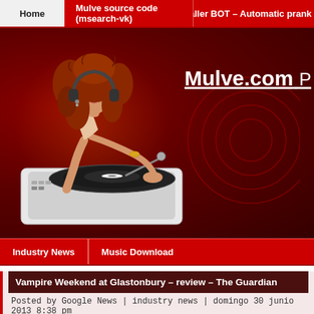Home | Mulve source code (msearch-vk) | Caller BOT – Automatic prank ca
[Figure (illustration): Mulve.com website hero banner with a red background, decorative concentric circles, and an illustration of a woman DJ with curly red hair wearing headphones, leaning over a vinyl turntable. The site title 'Mulve.com' appears in white bold underlined text on the right side.]
Industry News | Music Download
Vampire Weekend at Glastonbury – review – The Guardian
Posted by Google News | industry news | domingo 30 junio 2013 8:38 pm
Where and when
Pyramid Stage, 6pm
Dress code